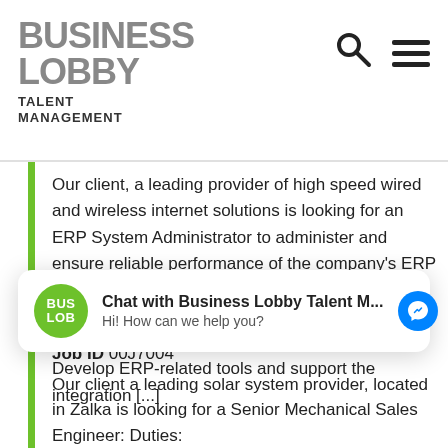BUSINESS LOBBY TALENT MANAGEMENT
Our client, a leading provider of high speed wired and wireless internet solutions is looking for an ERP System Administrator to administer and ensure reliable performance of the company’s ERP system, and develop ERP-related tools.   Responsibilities: Administer the Company’s ERP system and provide support to ERP users. Develop ERP-related tools and support the integration [...]
[Figure (screenshot): Chat widget: Chat with Business Lobby Talent M... Hi! How can we help you?]
Job ID 00J7004
Our client a leading solar system provider, located in Zalka is looking for a Senior Mechanical Sales Engineer: Duties: